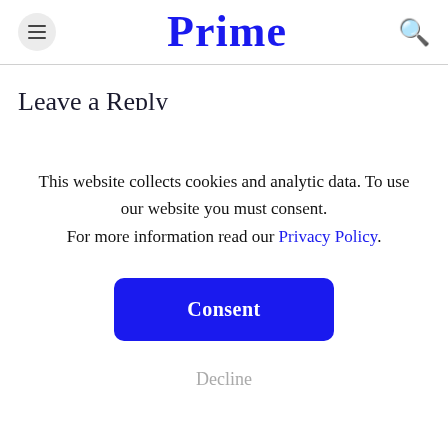Prime
Leave a Reply
This website collects cookies and analytic data. To use our website you must consent. For more information read our Privacy Policy.
Consent
Decline